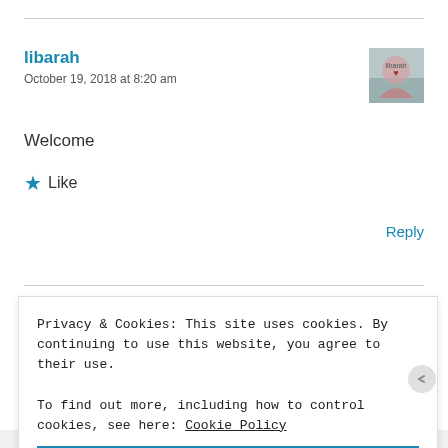libarah
October 19, 2018 at 8:20 am
Welcome
★ Like
Reply
Privacy & Cookies: This site uses cookies. By continuing to use this website, you agree to their use.
To find out more, including how to control cookies, see here: Cookie Policy
Close and accept